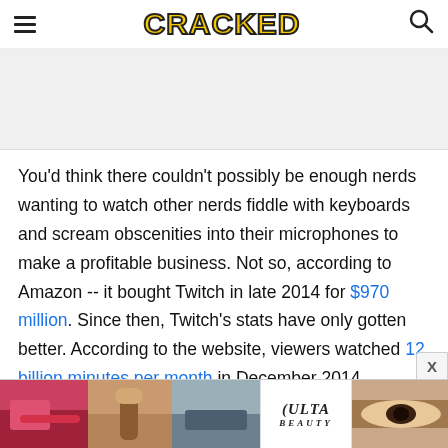CRACKED
[Figure (other): Gray advertisement placeholder banner]
You'd think there couldn't possibly be enough nerds wanting to watch other nerds fiddle with keyboards and scream obscenities into their microphones to make a profitable business. Not so, according to Amazon -- it bought Twitch in late 2014 for $970 million. Since then, Twitch's stats have only gotten better. According to the website, viewers watched 12 billion minutes per month in December 2014.
[Figure (photo): ULTA beauty advertisement banner at the bottom of the page showing makeup/beauty product imagery with SHOP NOW text]